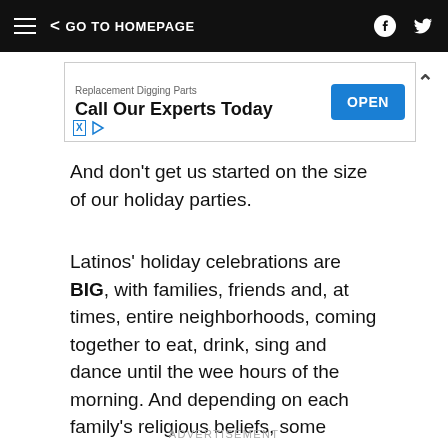GO TO HOMEPAGE
[Figure (other): Advertisement banner: Replacement Digging Parts - Call Our Experts Today - OPEN button]
And don’t get us started on the size of our holiday parties.
Latinos’ holiday celebrations are BIG, with families, friends and, at times, entire neighborhoods, coming together to eat, drink, sing and dance until the wee hours of the morning. And depending on each family’s religious beliefs, some attend a special Midnight Mass.
ADVERTISEMENT